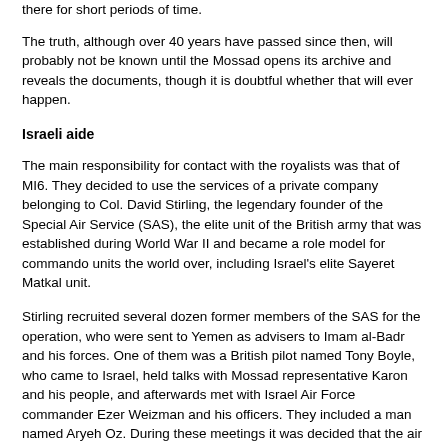there for short periods of time.
The truth, although over 40 years have passed since then, will probably not be known until the Mossad opens its archive and reveals the documents, though it is doubtful whether that will ever happen.
Israeli aide
The main responsibility for contact with the royalists was that of MI6. They decided to use the services of a private company belonging to Col. David Stirling, the legendary founder of the Special Air Service (SAS), the elite unit of the British army that was established during World War II and became a role model for commando units the world over, including Israel's elite Sayeret Matkal unit.
Stirling recruited several dozen former members of the SAS for the operation, who were sent to Yemen as advisers to Imam al-Badr and his forces. One of them was a British pilot named Tony Boyle, who came to Israel, held talks with Mossad representative Karon and his people, and afterwards met with Israel Air Force commander Ezer Weizman and his officers. They included a man named Aryeh Oz. During these meetings it was decided that the air force would fly over Yeman and drop weapons, ammunition and medical equipment to the royalists.
For the purpose of the operation, which received the code names "Rotev" ("gravy") and "Dorban" ("porcupine"), the largest transport plane in the air force was recruited, the